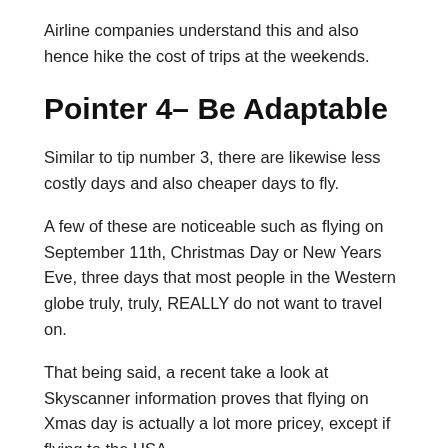Airline companies understand this and also hence hike the cost of trips at the weekends.
Pointer 4– Be Adaptable
Similar to tip number 3, there are likewise less costly days and also cheaper days to fly.
A few of these are noticeable such as flying on September 11th, Christmas Day or New Years Eve, three days that most people in the Western globe truly, truly, REALLY do not want to travel on.
That being said, a recent take a look at Skyscanner information proves that flying on Xmas day is actually a lot more pricey, except if flying to the USA.
Other cheap days to fly, specifically within Europe, consist of